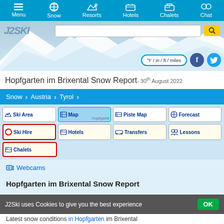Menu | Snow | Resorts | Hotels | Chalets | Chat
[Figure (screenshot): Hero mountain background image with J2Ski logo, search bar, unit toggle button (°F / in / ft / miles), Facebook and Twitter social icons]
Hopfgarten im Brixental Snow Report - 30th August 2022
Snow > Austria > Tyrol
Ski Area
Map
Piste Map
Forecast
Ski Hire
Hotels
Transfers
Lessons
Chalets
Webcams
Hopfgarten im Brixental Snow Report
J2Ski uses Cookies to give you the best experience  OK
Latest snow conditions in Hopfgarten im Brixental